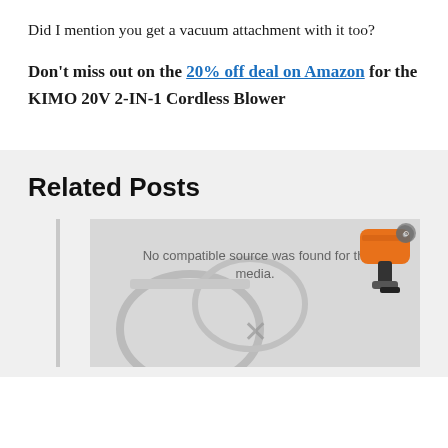Did I mention you get a vacuum attachment with it too?
Don't miss out on the 20% off deal on Amazon for the KIMO 20V 2-IN-1 Cordless Blower
Related Posts
[Figure (screenshot): Video player placeholder showing 'No compatible source was found for this media.' with an orange power tool image on the right and an X close button, overlaid on a faded background image of blower/vacuum tools]